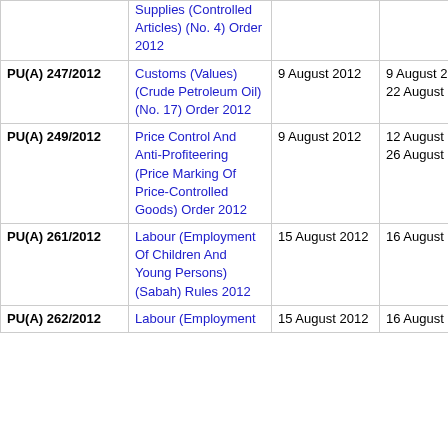| PU Number | Title | Date Gazetted | In Force | Note |
| --- | --- | --- | --- | --- |
|  | Supplies (Controlled Articles) (No. 4) Order 2012 |  |  |  |
| PU(A) 247/2012 | Customs (Values) (Crude Petroleum Oil) (No. 17) Order 2012 | 9 August 2012 | 9 August 2012 to 22 August 2012 | AC |
| PU(A) 249/2012 | Price Control And Anti-Profiteering (Price Marking Of Price-Controlled Goods) Order 2012 | 9 August 2012 | 12 August 2012 to 26 August 2012 | AC |
| PU(A) 261/2012 | Labour (Employment Of Children And Young Persons) (Sabah) Rules 2012 | 15 August 2012 | 16 August 2012 | [Sabah] |
| PU(A) 262/2012 | Labour (Employment | 15 August 2012 | 16 August 2012 | [Sarawa |